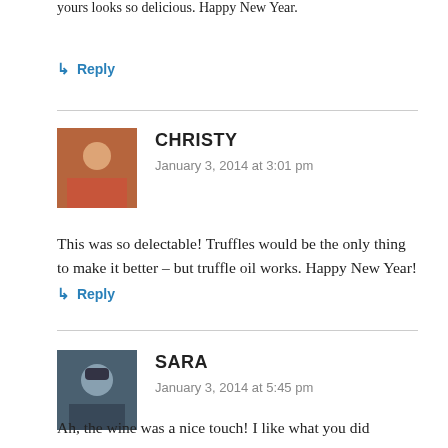yours looks so delicious. Happy New Year.
↳ Reply
CHRISTY
January 3, 2014 at 3:01 pm
This was so delectable! Truffles would be the only thing to make it better – but truffle oil works. Happy New Year!
↳ Reply
SARA
January 3, 2014 at 5:45 pm
Ah, the wine was a nice touch! I like what you did